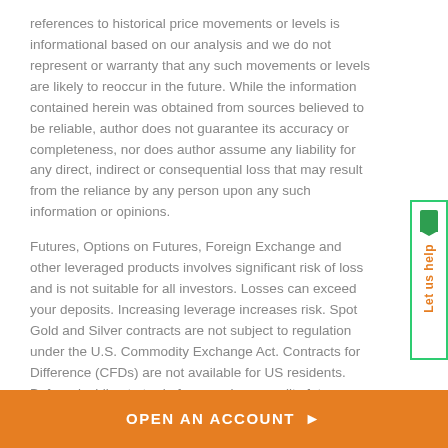references to historical price movements or levels is informational based on our analysis and we do not represent or warranty that any such movements or levels are likely to reoccur in the future. While the information contained herein was obtained from sources believed to be reliable, author does not guarantee its accuracy or completeness, nor does author assume any liability for any direct, indirect or consequential loss that may result from the reliance by any person upon any such information or opinions.
Futures, Options on Futures, Foreign Exchange and other leveraged products involves significant risk of loss and is not suitable for all investors. Losses can exceed your deposits. Increasing leverage increases risk. Spot Gold and Silver contracts are not subject to regulation under the U.S. Commodity Exchange Act. Contracts for Difference (CFDs) are not available for US residents. Before deciding to trade forex and commodity futures, you should carefully consider your financial objectives, level of experience and risk appetite. Any opinions, news, research, analyses, prices or other information contained herein
Let us help
OPEN AN ACCOUNT ▶